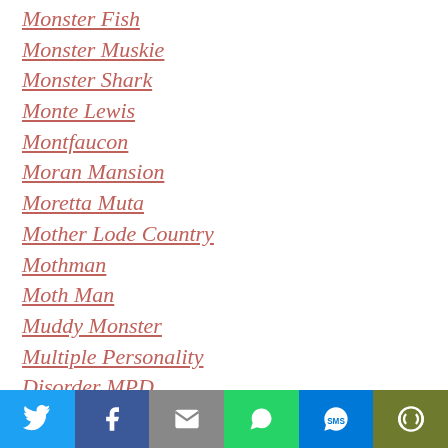Monster Fish
Monster Muskie
Monster Shark
Monte Lewis
Montfaucon
Moran Mansion
Moretta Muta
Mother Lode Country
Mothman
Moth Man
Muddy Monster
Multiple Personality Disorder MPD
Mummies
Murder
Murder At Cabin 28
Murder At Kreischer House